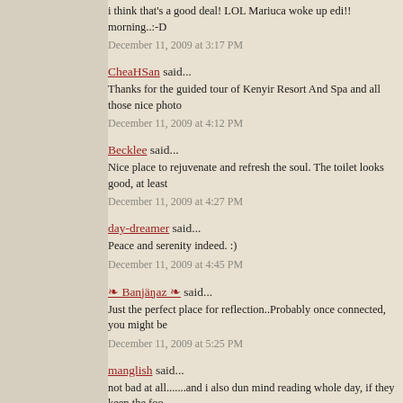i think that's a good deal! LOL Mariuca woke up edi!! morning..:-D
December 11, 2009 at 3:17 PM
CheaHSan said...
Thanks for the guided tour of Kenyir Resort And Spa and all those nice photo
December 11, 2009 at 4:12 PM
Becklee said...
Nice place to rejuvenate and refresh the soul. The toilet looks good, at least
December 11, 2009 at 4:27 PM
day-dreamer said...
Peace and serenity indeed. :)
December 11, 2009 at 4:45 PM
❧ Banjäŋaz ❧ said...
Just the perfect place for reflection..Probably once connected, you might be
December 11, 2009 at 5:25 PM
manglish said...
not bad at all.......and i also dun mind reading whole day, if they keep the foo
December 11, 2009 at 5:42 PM